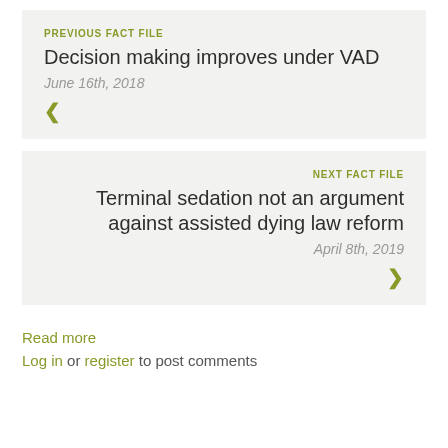PREVIOUS FACT FILE
Decision making improves under VAD
June 16th, 2018
‹
NEXT FACT FILE
Terminal sedation not an argument against assisted dying law reform
April 8th, 2019
›
Read more
Log in or register to post comments